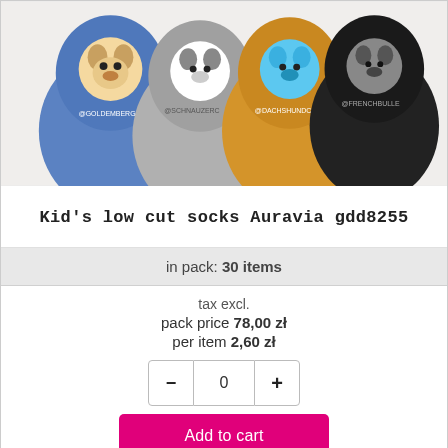[Figure (photo): Photo of multiple colorful kids' low cut socks fanned out, featuring dog breed illustrations (Schnauzer, Dachshund, French Bulldog, etc.) on blue, grey, yellow/orange, black backgrounds, photographed from above on a white surface.]
Kid's low cut socks Auravia gdd8255
in pack: 30 items
tax excl.
pack price 78,00 zł
per item 2,60 zł
0
Add to cart